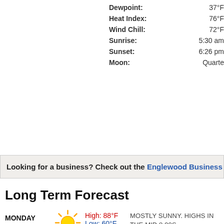Dewpoint: 37°F
Heat Index: 76°F
Wind Chill: 72°F
Sunrise: 5:30 am
Sunset: 6:26 pm
Moon: Quarte
Looking for a business? Check out the Englewood Business D
Long Term Forecast
MONDAY High: 88°F Low: 60°F MOSTLY SUNNY. HIGHS IN THE MID 8 90S. OVERNIGHT: MOSTLY CLEAR. LO
TUESDAY High: 90°F Low: 63°F PARTLY CLOUDY WITH A 10 PERCENT THUNDERSTORMS. HIGHS NEAR 90. PARTLY CLOUDY WITH A 20 PERCENT THUNDERSTORMS. LOWS IN THE LO